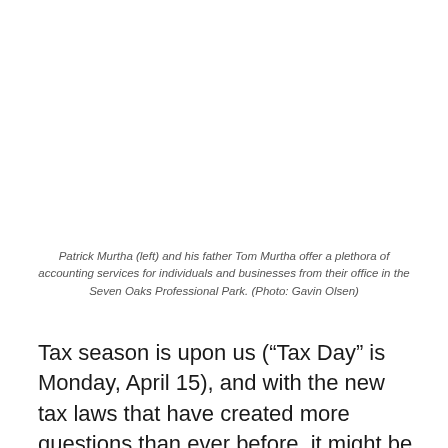Patrick Murtha (left) and his father Tom Murtha offer a plethora of accounting services for individuals and businesses from their office in the Seven Oaks Professional Park. (Photo: Gavin Olsen)
Tax season is upon us (“Tax Day” is Monday, April 15), and with the new tax laws that have created more questions than ever before, it might be time to call in some experienced experts.